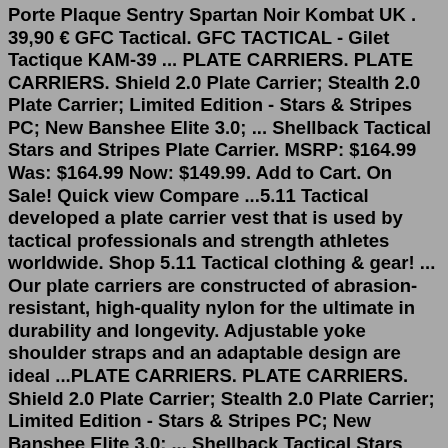Porte Plaque Sentry Spartan Noir Kombat UK . 39,90 € GFC Tactical. GFC TACTICAL - Gilet Tactique KAM-39 ... PLATE CARRIERS. PLATE CARRIERS. Shield 2.0 Plate Carrier; Stealth 2.0 Plate Carrier; Limited Edition - Stars & Stripes PC; New Banshee Elite 3.0; ... Shellback Tactical Stars and Stripes Plate Carrier. MSRP: $164.99 Was: $164.99 Now: $149.99. Add to Cart. On Sale! Quick view Compare ...5.11 Tactical developed a plate carrier vest that is used by tactical professionals and strength athletes worldwide. Shop 5.11 Tactical clothing & gear! ... Our plate carriers are constructed of abrasion-resistant, high-quality nylon for the ultimate in durability and longevity. Adjustable yoke shoulder straps and an adaptable design are ideal ...PLATE CARRIERS. PLATE CARRIERS. Shield 2.0 Plate Carrier; Stealth 2.0 Plate Carrier; Limited Edition - Stars & Stripes PC; New Banshee Elite 3.0; ... Shellback Tactical Stars and Stripes Plate Carrier. MSRP: $164.99 Was: $164.99 Now: $149.99. Add to Cart. On Sale! Quick view Compare . Kombat UK